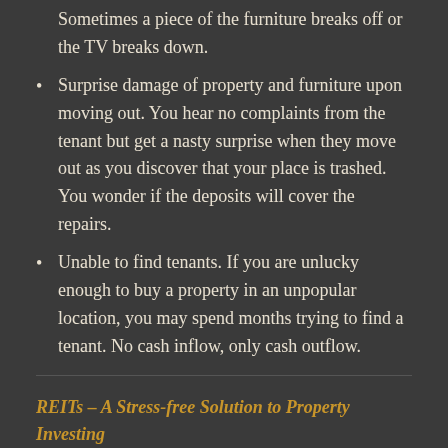Sometimes a piece of the furniture breaks off or the TV breaks down.
Surprise damage of property and furniture upon moving out. You hear no complaints from the tenant but get a nasty surprise when they move out as you discover that your place is trashed. You wonder if the deposits will cover the repairs.
Unable to find tenants. If you are unlucky enough to buy a property in an unpopular location, you may spend months trying to find a tenant. No cash inflow, only cash outflow.
REITs – A Stress-free Solution to Property Investing